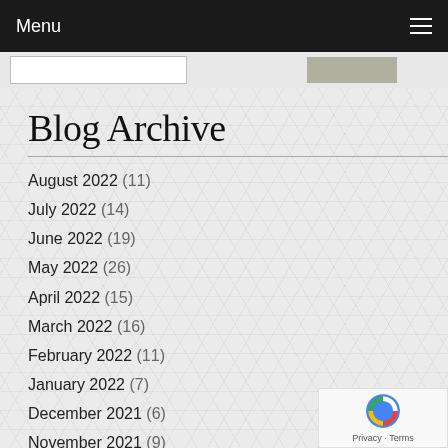Menu
Blog Archive
August 2022 (11)
July 2022 (14)
June 2022 (19)
May 2022 (26)
April 2022 (15)
March 2022 (16)
February 2022 (11)
January 2022 (7)
December 2021 (6)
November 2021 (9)
October 2021 (21)